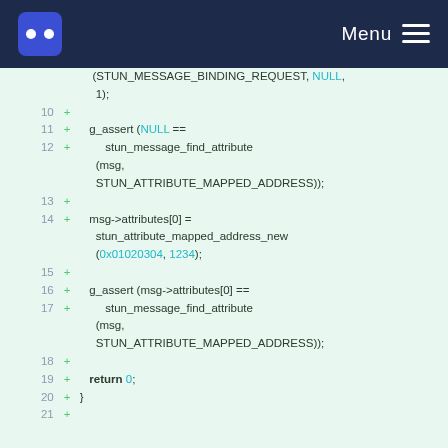Menu
[Figure (screenshot): Code diff view showing lines 10-21 of a C source file with additions (lines prefixed with +). Code includes g_assert, stun_message_find_attribute, msg->attributes[0] assignment, stun_attribute_mapped_address_new call, and return 0 statement.]